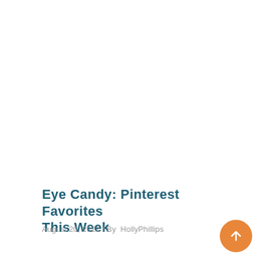Eye Candy: Pinterest Favorites This Week
August 20, 2022 / By HollyPhillips